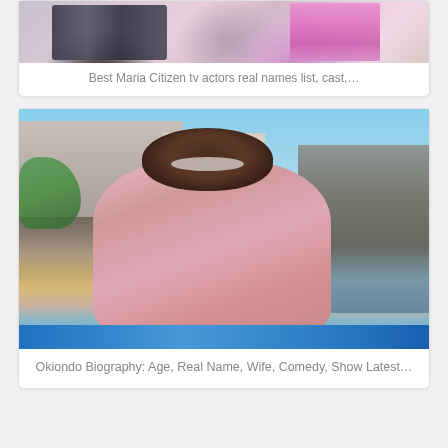[Figure (photo): Two people, one wearing a floral/black-and-white outfit holding a dark folder, and another in pink, photographed outdoors with greenery in background]
Best Maria Citizen tv actors real names list, cast,…
[Figure (photo): A smiling man in a pink checkered shirt posing in front of a waterfall feature and blue pool, with buildings in the background]
Okiondo Biography: Age, Real Name, Wife, Comedy, Show Latest…